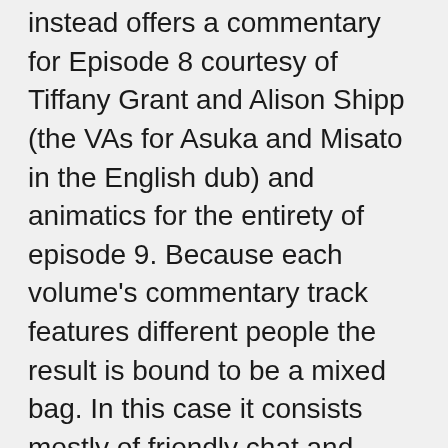instead offers a commentary for Episode 8 courtesy of Tiffany Grant and Alison Shipp (the VAs for Asuka and Misato in the English dub) and animatics for the entirety of episode 9. Because each volume's commentary track features different people the result is bound to be a mixed bag. In this case it consists mostly of friendly chat and banter but there are quite a few interesting anecdotes. The animatics are a little less appealing however – a whole episode's worth of grainy raw footage and animated storyboards without any sort of dialogue takes patience to sit through for its entirety. Another glossy inlay booklet is included, showing numerous screen shots and